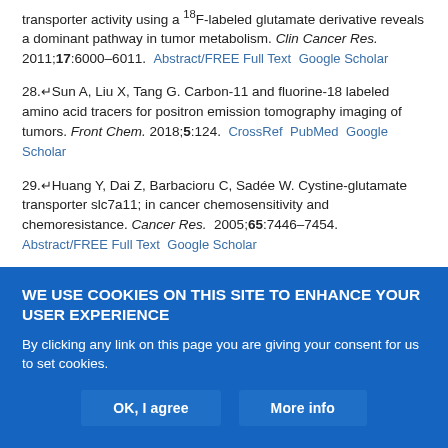transporter activity using a 18F-labeled glutamate derivative reveals a dominant pathway in tumor metabolism. Clin Cancer Res. 2011;17:6000–6011. Abstract/FREE Full Text  Google Scholar
28. Sun A, Liu X, Tang G. Carbon-11 and fluorine-18 labeled amino acid tracers for positron emission tomography imaging of tumors. Front Chem. 2018;5:124. CrossRef  PubMed  Google Scholar
29. Huang Y, Dai Z, Barbacioru C, Sadée W. Cystine-glutamate transporter slc7a11; in cancer chemosensitivity and chemoresistance. Cancer Res. 2005;65:7446–7454. Abstract/FREE Full Text  Google Scholar
30. Dai Z, Huang Y, Sadee W, Blower P. Chemoinformatics analysis identifies cytotoxic compounds susceptible to chemoresistance mediated by glutathione and cystine/glutamate transport system xc. J Med Chem.
WE USE COOKIES ON THIS SITE TO ENHANCE YOUR USER EXPERIENCE
By clicking any link on this page you are giving your consent for us to set cookies.
OK, I agree   More info